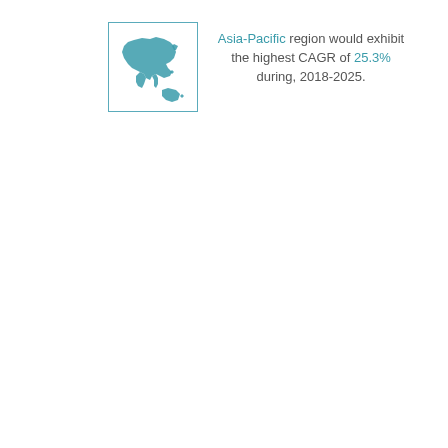[Figure (map): Map of Asia-Pacific region shown as teal/blue silhouette with a border box]
Asia-Pacific region would exhibit the highest CAGR of 25.3% during, 2018-2025.